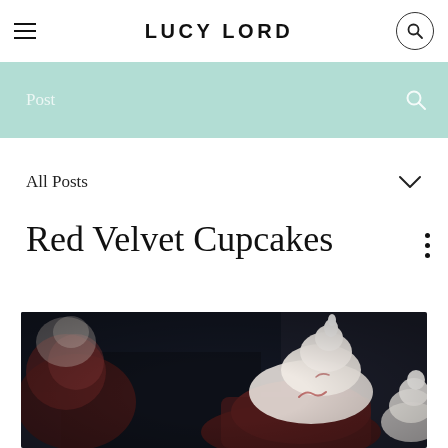LUCY LORD
Post
All Posts
Red Velvet Cupcakes
[Figure (photo): Close-up photo of red velvet cupcakes with white cream cheese frosting swirled on top, set against a dark background]